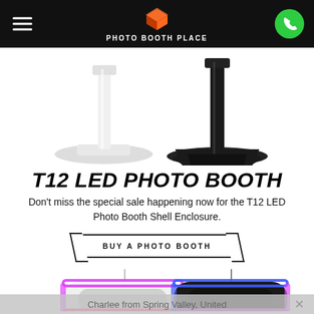PHOTO BOOTH PLACE
[Figure (photo): Two photo booth stands shown side by side — one white on the left and one black on the right — shot against a white background. Only the bases and poles are visible.]
T12 LED PHOTO BOOTH
Don't miss the special sale happening now for the T12 LED Photo Booth Shell Enclosure.
BUY A PHOTO BOOTH
[Figure (photo): Two T12 LED Photo Booth units shown side by side — one white with pink/purple LED glow trim and one black with blue/purple LED glow trim, each with a thin silver antenna extending upward.]
Charlee from Spring Valley, United